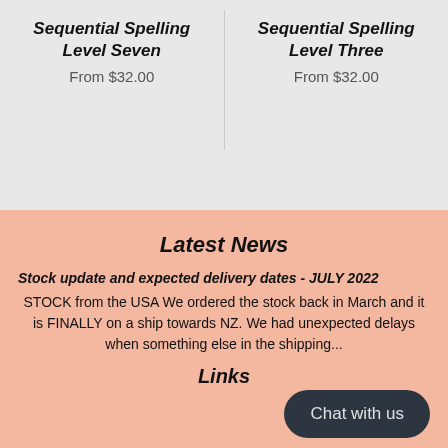Sequential Spelling Level Seven
From $32.00
Sequential Spelling Level Three
From $32.00
Latest News
Stock update and expected delivery dates - JULY 2022
STOCK from the USA We ordered the stock back in March and it is FINALLY on a ship towards NZ. We had unexpected delays when something else in the shipping...
Links